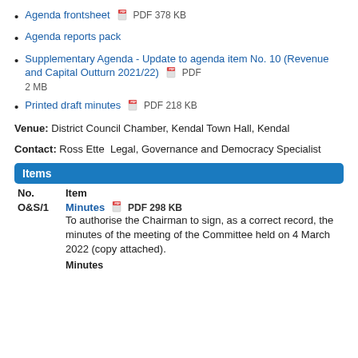Agenda frontsheet  PDF 378 KB
Agenda reports pack
Supplementary Agenda - Update to agenda item No. 10 (Revenue and Capital Outturn 2021/22)  PDF 2 MB
Printed draft minutes  PDF 218 KB
Venue: District Council Chamber, Kendal Town Hall, Kendal
Contact: Ross Ette  Legal, Governance and Democracy Specialist
Items
| No. | Item |
| --- | --- |
| O&S/1 | Minutes  PDF 298 KB
To authorise the Chairman to sign, as a correct record, the minutes of the meeting of the Committee held on 4 March 2022 (copy attached). |
|  | Minutes |